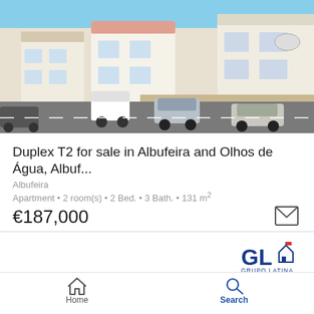[Figure (photo): Exterior photo of white Mediterranean-style townhouses/duplex buildings with cars parked on the street in Albufeira, Portugal. Blue sky background.]
Duplex T2 for sale in Albufeira and Olhos de Água, Albuf...
Albufeira
Apartment • 2 room(s) • 2 Bed. • 3 Bath. • 131 m²
€187,000
[Figure (logo): GL Grupo Latina real estate agency logo]
[Figure (photo): Partial interior photo of the property]